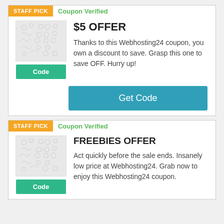[Figure (other): Coupon card 1 with STAFF PICK badge, Coupon Verified label, thumbnail image, Code button, $5 OFFER title, description text, and Get Code button]
[Figure (other): Coupon card 2 with STAFF PICK badge, Coupon Verified label, thumbnail image, Code button, FREEBIES OFFER title, and description text]